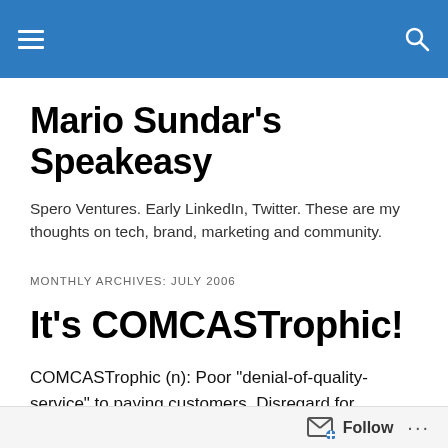Mario Sundar's Speakeasy — navigation bar
Mario Sundar's Speakeasy
Spero Ventures. Early LinkedIn, Twitter. These are my thoughts on tech, brand, marketing and community.
MONTHLY ARCHIVES: JULY 2006
It's COMCASTrophic!
COMCASTrophic (n): Poor "denial-of-quality-service" to paying customers. Disregard for customer's time and patience. Here's my 2-part rant. Customer Pain & the Marketing takeaway. Customer Pain: Against my better
Follow